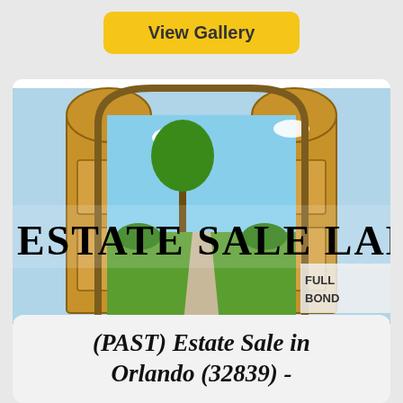[Figure (other): Yellow 'View Gallery' button]
[Figure (logo): Estate Sale Ladies company logo showing open wooden doors with garden view, text 'Estate Sale Ladies' and 'FULLY BONDED' visible, pink banner at bottom with partial text 'Calli']
(PAST) Estate Sale in Orlando (32839) -